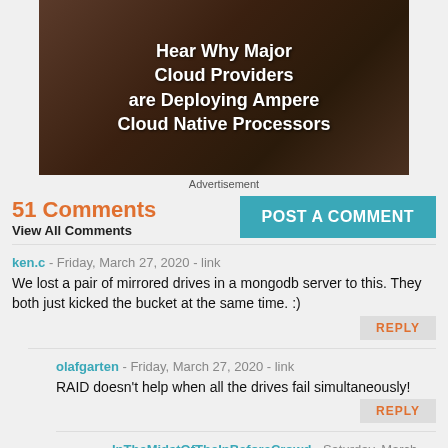[Figure (illustration): Advertisement banner with dark brown background showing text: Hear Why Major Cloud Providers are Deploying Ampere Cloud Native Processors]
Advertisement
51 Comments
View All Comments
POST A COMMENT
ken.c - Friday, March 27, 2020 - link
We lost a pair of mirrored drives in a mongodb server to this. They both just kicked the bucket at the same time. :)
REPLY
olafgarten - Friday, March 27, 2020 - link
RAID doesn't help when all the drives fail simultaneously!
REPLY
InTheMidstOfTheInBeforeCrowd - Saturday, March 28, 2020 - link
I agree. It would be rather fruitless for law enforcement to raid company premises in search of documents revealing